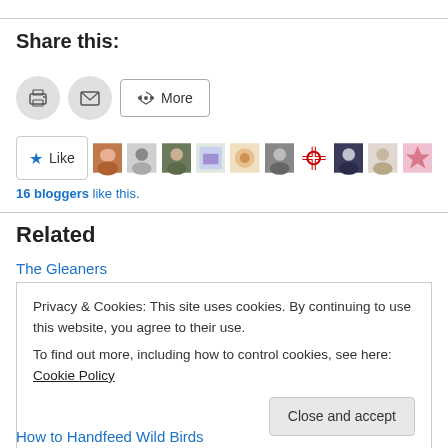Share this:
[Figure (infographic): Social sharing buttons: print icon, email icon, and More button with share icon]
[Figure (infographic): Like button with star icon, followed by a row of 10 blogger avatar thumbnails]
16 bloggers like this.
Related
The Gleaners
Privacy & Cookies: This site uses cookies. By continuing to use this website, you agree to their use.
To find out more, including how to control cookies, see here: Cookie Policy
Close and accept
How to Handfeed Wild Birds